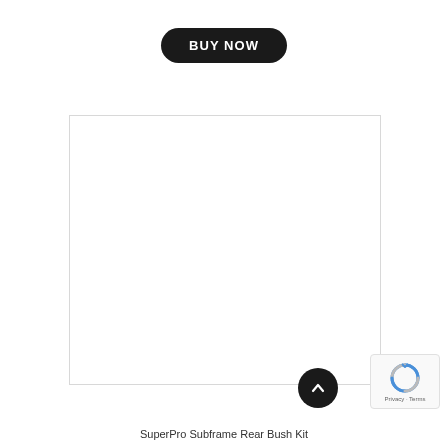[Figure (other): BUY NOW button - dark rounded pill-shaped button with white uppercase bold text]
[Figure (other): Empty white image placeholder box with light grey border]
[Figure (other): Dark circular scroll-to-top button with upward chevron arrow]
[Figure (other): Google reCAPTCHA badge with logo and Privacy/Terms links]
SuperPro Subframe Rear Bush Kit